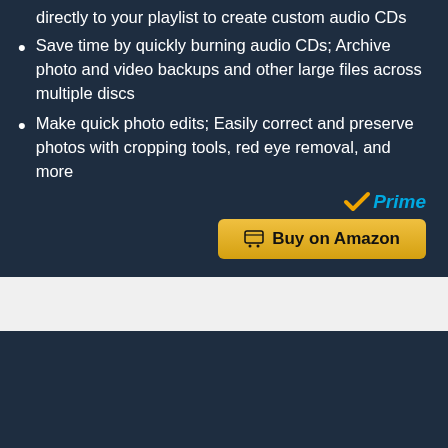directly to your playlist to create custom audio CDs
Save time by quickly burning audio CDs; Archive photo and video backups and other large files across multiple discs
Make quick photo edits; Easily correct and preserve photos with cropping tools, red eye removal, and more
[Figure (logo): Amazon Prime logo with orange checkmark and blue italic Prime text]
[Figure (other): Buy on Amazon button in gold/yellow color with shopping cart icon]
BESTSELLER NO. 8
[Figure (photo): Product photo of a small black hardware device with blue display screen and a black mounting bracket/back panel]